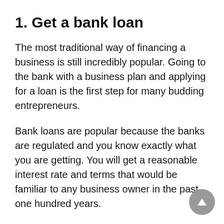1. Get a bank loan
The most traditional way of financing a business is still incredibly popular. Going to the bank with a business plan and applying for a loan is the first step for many budding entrepreneurs.
Bank loans are popular because the banks are regulated and you know exactly what you are getting. You will get a reasonable interest rate and terms that would be familiar to any business owner in the past one hundred years.